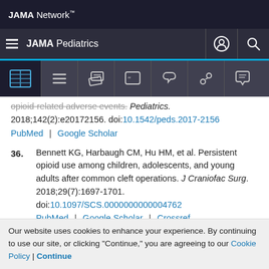JAMA Network
JAMA Pediatrics
opioid-related adverse events. Pediatrics. 2018;142(2):e20172156. doi:10.1542/peds.2017-2156
PubMed | Google Scholar
36. Bennett KG, Harbaugh CM, Hu HM, et al. Persistent opioid use among children, adolescents, and young adults after common cleft operations. J Craniofac Surg. 2018;29(7):1697-1701. doi:10.1097/SCS.0000000000004762
PubMed | Google Scholar | Crossref
Our website uses cookies to enhance your experience. By continuing to use our site, or clicking "Continue," you are agreeing to our Cookie Policy | Continue